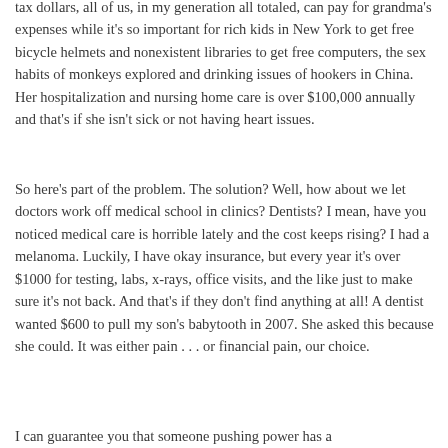tax dollars, all of us, in my generation all totaled, can pay for grandma's expenses while it's so important for rich kids in New York to get free bicycle helmets and nonexistent libraries to get free computers, the sex habits of monkeys explored and drinking issues of hookers in China. Her hospitalization and nursing home care is over $100,000 annually and that's if she isn't sick or not having heart issues.
So here's part of the problem. The solution? Well, how about we let doctors work off medical school in clinics? Dentists? I mean, have you noticed medical care is horrible lately and the cost keeps rising? I had a melanoma. Luckily, I have okay insurance, but every year it's over $1000 for testing, labs, x-rays, office visits, and the like just to make sure it's not back. And that's if they don't find anything at all! A dentist wanted $600 to pull my son's babytooth in 2007. She asked this because she could. It was either pain . . . or financial pain, our choice.
I can guarantee you that someone pushing power has a